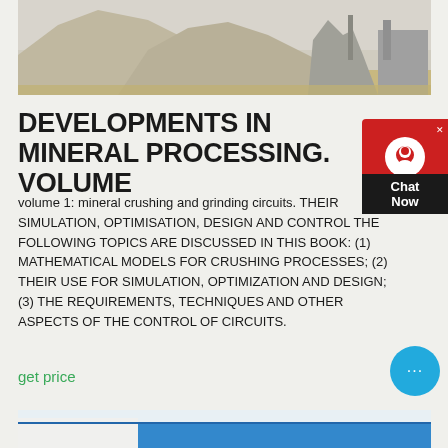[Figure (photo): Photograph of a quarry or mineral processing facility showing large white/grey piles of crushed stone or mineral aggregate, with industrial structures and equipment in the background.]
DEVELOPMENTS IN MINERAL PROCESSING. VOLUME
volume 1: mineral crushing and grinding circuits. THEIR SIMULATION, OPTIMISATION, DESIGN AND CONTROL THE FOLLOWING TOPICS ARE DISCUSSED IN THIS BOOK: (1) MATHEMATICAL MODELS FOR CRUSHING PROCESSES; (2) THEIR USE FOR SIMULATION, OPTIMIZATION AND DESIGN; (3) THE REQUIREMENTS, TECHNIQUES AND OTHER ASPECTS OF THE CONTROL OF CIRCUITS.
get price
[Figure (photo): Partial view of another image at the bottom of the page, showing blue and white coloration suggesting another mineral processing or industrial subject.]